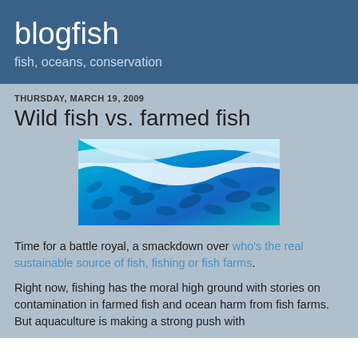blogfish
fish, oceans, conservation
THURSDAY, MARCH 19, 2009
Wild fish vs. farmed fish
[Figure (photo): Underwater photo of a school of fish in blue water with white wave-like shapes at the top]
Time for a battle royal, a smackdown over who's the real sustainable source of fish, fishing or fish farms.
Right now, fishing has the moral high ground with stories on contamination in farmed fish and ocean harm from fish farms. But aquaculture is making a strong push with